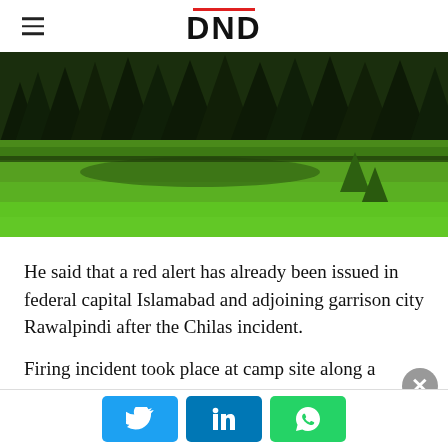DND
[Figure (photo): Scenic mountain meadow with lush green grass, pine trees in the background, and a natural stream area — landscape photograph likely from Pakistan's northern region.]
He said that a red alert has already been issued in federal capital Islamabad and adjoining garrison city Rawalpindi after the Chilas incident.
Firing incident took place at camp site along a mountain stream near Buner Das, Diamer district of Pakistan's
Twitter | LinkedIn | WhatsApp social share buttons